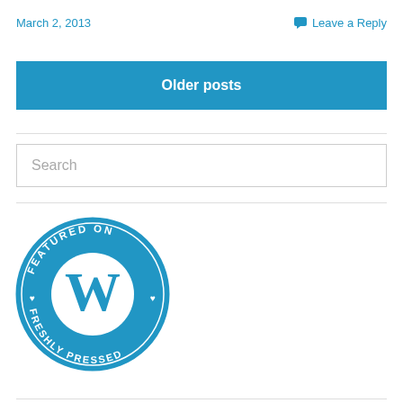March 2, 2013
Leave a Reply
Older posts
Search
[Figure (logo): WordPress Freshly Pressed badge - circular blue badge with WordPress W logo and text 'FEATURED ON FRESHLY PRESSED' around the edge with heart symbols]